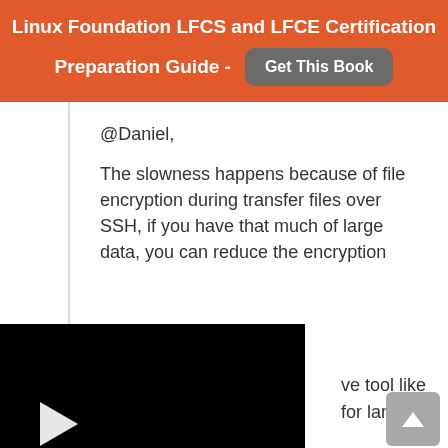Linux Foundation LFCS and LFCE Certification Preparation Guide - Get This Book
@Daniel,
The slowness happens because of file encryption during transfer files over SSH, if you have that much of large data, you can reduce the encryption ...ve tool like ...for larger
[Figure (screenshot): Black video player with white play button triangle on left side]